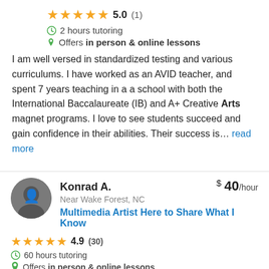5.0 (1)
2 hours tutoring
Offers in person & online lessons
I am well versed in standardized testing and various curriculums. I have worked as an AVID teacher, and spent 7 years teaching in a a school with both the International Baccalaureate (IB) and A+ Creative Arts magnet programs. I love to see students succeed and gain confidence in their abilities. Their success is... read more
Konrad A.
$ 40/hour
Near Wake Forest, NC
Multimedia Artist Here to Share What I Know
4.9 (30)
60 hours tutoring
Offers in person & online lessons
For the past four years, I've taught documentary filmmaking to...